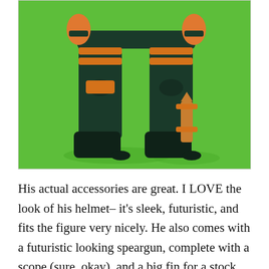[Figure (photo): Close-up photo of a green and orange action figure (toy) from the waist down, showing dark green legs and boots with orange straps, holding what appears to be a weapon on one leg, set against a bright green background.]
His actual accessories are great. I LOVE the look of his helmet– it's sleek, futuristic, and fits the figure very nicely. He also comes with a futuristic looking speargun, complete with a scope (sure, okay), and a big fin for a stock. Maybe he uses the stock as a rudder to